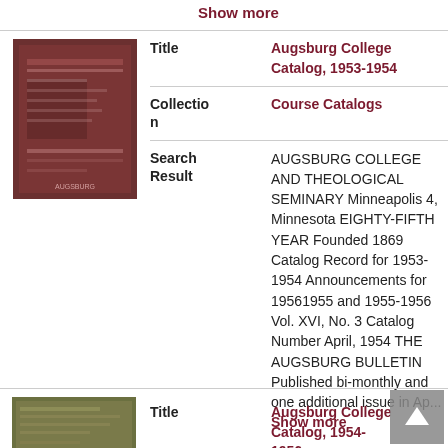Show more
[Figure (photo): Thumbnail cover image of Augsburg College Catalog 1953-1954, showing a building facade in dark red/brown tones]
| Field | Value |
| --- | --- |
| Title | Augsburg College Catalog, 1953-1954 |
| Collection | Course Catalogs |
| Search Result | AUGSBURG COLLEGE AND THEOLOGICAL SEMINARY Minneapolis 4, Minnesota EIGHTY-FIFTH YEAR Founded 1869 Catalog Record for 1953-1954 Announcements for 19561955 and 1955-1956 Vol. XVI, No. 3 Catalog Number April, 1954 THE AUGSBURG BULLETIN Published bi-monthly and one additional issue in Ap... Show more |
[Figure (photo): Thumbnail cover image of Augsburg College Catalog 1954-1956, showing a textured green/brown cover]
Title   Augsburg College Catalog, 1954-1956